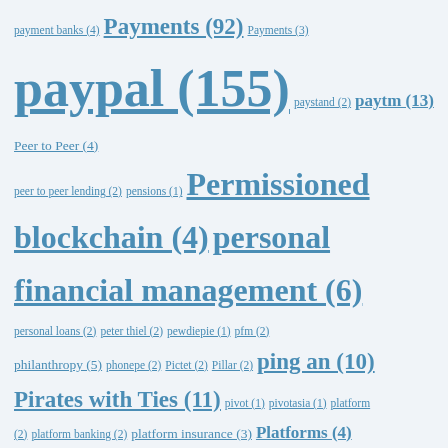payment banks (4) Payments (92) Payments (3) paypal (155) paystand (2) paytm (13) Peer to Peer (4) peer to peer lending (2) pensions (1) Permissioned blockchain (4) personal financial management (6) personal loans (2) peter thiel (2) pewdiepie (1) pfm (2) philanthropy (5) phonepe (2) Pictet (2) Pillar (2) ping an (10) Pirates with Ties (11) pivot (1) pivotasia (1) platform (2) platform banking (2) platform insurance (3) Platforms (4) plugandplay (2) Point (1) point of sale (3) policies (1) policy (1) policy exclusion (1) policygenius (2) Polychain Capital (2) pooh corner debates (9) portfolio (3) portfolio construction (1) PostBanked (1) precious metals (1) prediction market (1) Predictions (6) Predictive Analytics (1) pricing (2) Prima (1) private equity (3) ProfitSee (2) programmable bank (11) progressive (1) proof of stake (7) proof of work (1) property & casualty (1) PropTech (1) prosper (5) protectiongaps (1) protocols (1) provenance (4) psd2 (13) PTF (1) PYPL (155) QR Codes (4) quality (1) quandl (1) quantitative (2) quantopian